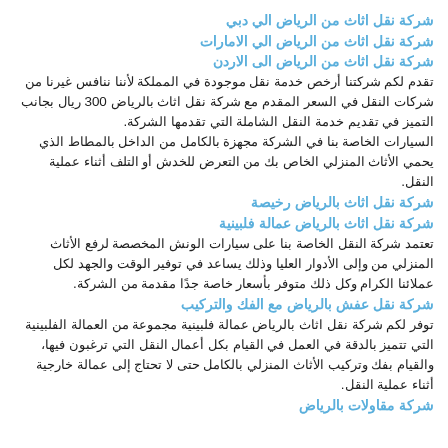شركة نقل اثاث من الرياض الي دبي
شركة نقل اثاث من الرياض الي الامارات
شركة نقل اثاث من الرياض الى الاردن
تقدم لكم شركتنا أرخص خدمة نقل موجودة في المملكة لأننا ننافس غيرنا من شركات النقل في السعر المقدم مع شركة نقل اثاث بالرياض 300 ريال بجانب التميز في تقديم خدمة النقل الشاملة التي تقدمها الشركة.
السيارات الخاصة بنا في الشركة مجهزة بالكامل من الداخل بالمطاط الذي يحمي الأثاث المنزلي الخاص بك من التعرض للخدش أو التلف أثناء عملية النقل.
شركة نقل اثاث بالرياض رخيصة
شركة نقل اثاث بالرياض عمالة فلبينية
تعتمد شركة النقل الخاصة بنا على سيارات الونش المخصصة لرفع الأثاث المنزلي من وإلى الأدوار العليا وذلك يساعد في توفير الوقت والجهد لكل عملائنا الكرام وكل ذلك متوفر بأسعار خاصة جدًا مقدمة من الشركة.
شركة نقل عفش بالرياض مع الفك والتركيب
توفر لكم شركة نقل اثاث بالرياض عمالة فلبينية مجموعة من العمالة الفلبينية التي تتميز بالدقة في العمل في القيام بكل أعمال النقل التي ترغبون فيها، والقيام بفك وتركيب الأثاث المنزلي بالكامل حتى لا تحتاج إلى عمالة خارجية أثناء عملية النقل.
شركة مقاولات بالرياض